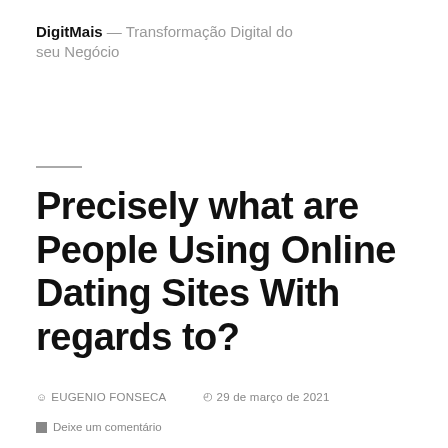DigitMais — Transformação Digital do seu Negócio
Precisely what are People Using Online Dating Sites With regards to?
EUGENIO FONSECA   29 de março de 2021
Deixe um comentário